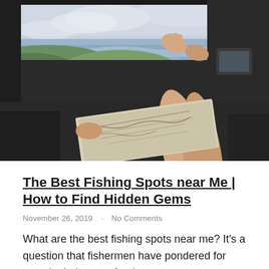[Figure (photo): A person relaxing in a car with bare legs propped up on the open window, holding a road map, with a scenic coastal view (ocean waves, green hills, cloudy sky) visible through the window.]
The Best Fishing Spots near Me | How to Find Hidden Gems
November 26, 2019 · No Comments
What are the best fishing spots near me? It's a question that fishermen have pondered for ages in their quest for the